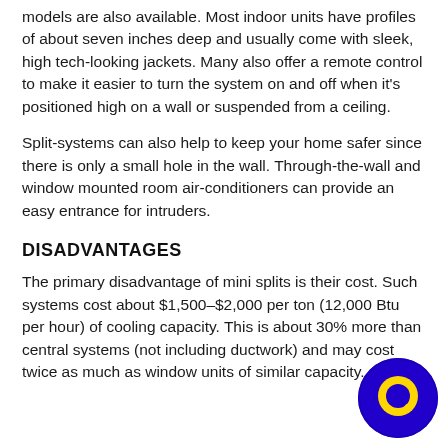models are also available. Most indoor units have profiles of about seven inches deep and usually come with sleek, high tech-looking jackets. Many also offer a remote control to make it easier to turn the system on and off when it's positioned high on a wall or suspended from a ceiling.
Split-systems can also help to keep your home safer since there is only a small hole in the wall. Through-the-wall and window mounted room air-conditioners can provide an easy entrance for intruders.
DISADVANTAGES
The primary disadvantage of mini splits is their cost. Such systems cost about $1,500–$2,000 per ton (12,000 Btu per hour) of cooling capacity. This is about 30% more than central systems (not including ductwork) and may cost twice as much as window units of similar capacity.
[Figure (logo): Blue circle with yellow Q letter logo overlay in the bottom-right corner]